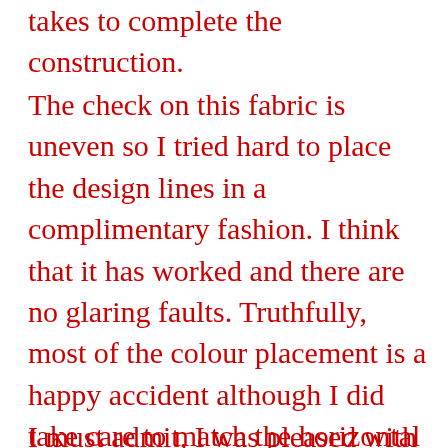takes to complete the construction.
The check on this fabric is uneven so I tried hard to place the design lines in a complimentary fashion. I think that it has worked and there are no glaring faults. Truthfully, most of the colour placement is a happy accident although I did take care to match the horizontal lines of the check. I am particularly pleased with the way that the collar check lines are in a chevron.
I must admit, I was pleased with Mi...